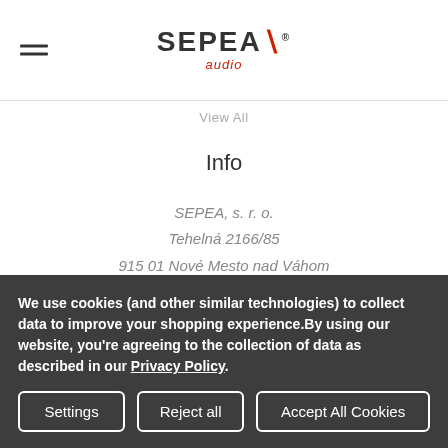SEPEA audio
View All
Info
SEPEA, s. r. o.
Tehelná 2166/85
915 01 Nové Mesto nad Váhom
Slovakia
Reg.ID 46776761
VAT ID SK2023572089
orders@sepeaaudio.com
We use cookies (and other similar technologies) to collect data to improve your shopping experience.By using our website, you're agreeing to the collection of data as described in our Privacy Policy.
Settings | Reject all | Accept All Cookies